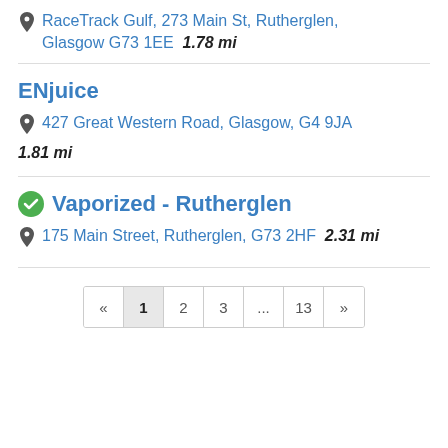RaceTrack Gulf, 273 Main St, Rutherglen, Glasgow G73 1EE  1.78 mi
ENjuice
427 Great Western Road, Glasgow, G4 9JA  1.81 mi
Vaporized - Rutherglen
175 Main Street, Rutherglen, G73 2HF  2.31 mi
« 1 2 3 ... 13 »